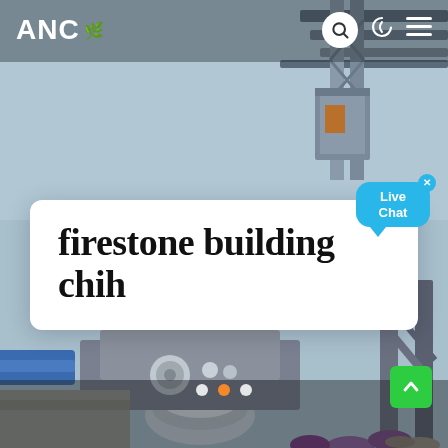[Figure (photo): Industrial construction site photograph showing steel frame structure, mechanical equipment, pipes, and machinery against a light blue sky background.]
ANC
firestone building chih
Live Chat